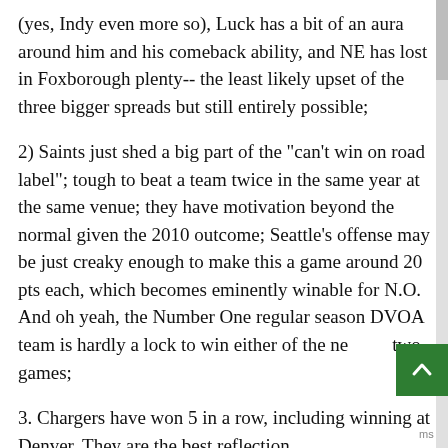(yes, Indy even more so), Luck has a bit of an aura around him and his comeback ability, and NE has lost in Foxborough plenty-- the least likely upset of the three bigger spreads but still entirely possible;
2) Saints just shed a big part of the "can't win on road label"; tough to beat a team twice in the same year at the same venue; they have motivation beyond the normal given the 2010 outcome; Seattle's offense may be just creaky enough to make this a game around 20 pts each, which becomes eminently winable for N.O. And oh yeah, the Number One regular season DVOA team is hardly a lock to win either of the next two games;
3. Chargers have won 5 in a row, including winning at Denver. They are the best reflection